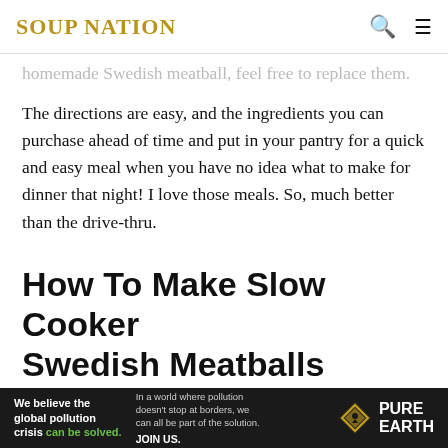SOUP NATION
homemade Swedish meatball, feel free to replace them.
The directions are easy, and the ingredients you can purchase ahead of time and put in your pantry for a quick and easy meal when you have no idea what to make for dinner that night! I love those meals. So, much better than the drive-thru.
How To Make Slow Cooker Swedish Meatballs
Whisk together cream of mushroom soup and beef broth in your slow cooker.
2. Add mushrooms, onion, garlic powder, steak sauce, paprika,
[Figure (other): Pure Earth advertisement banner: 'We believe the global pollution crisis can be solved.' with Pure Earth logo]